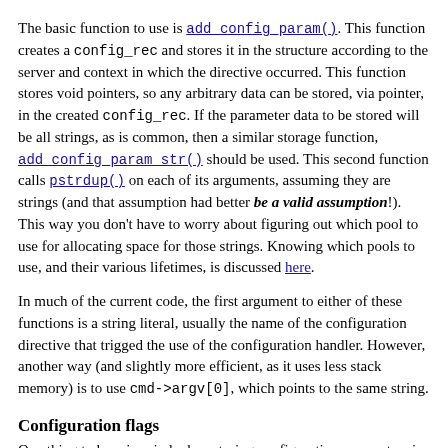The basic function to use is add_config_param(). This function creates a config_rec and stores it in the structure according to the server and context in which the directive occurred. This function stores void pointers, so any arbitrary data can be stored, via pointer, in the created config_rec. If the parameter data to be stored will be all strings, as is common, then a similar storage function, add_config_param_str() should be used. This second function calls pstrdup() on each of its arguments, assuming they are strings (and that assumption had better be a valid assumption!). This way you don't have to worry about figuring out which pool to use for allocating space for those strings. Knowing which pools to use, and their various lifetimes, is discussed here.
In much of the current code, the first argument to either of these functions is a string literal, usually the name of the configuration directive that trigged the use of the configuration handler. However, another way (and slightly more efficient, as it uses less stack memory) is to use cmd->argv[0], which points to the same string.
Configuration flags
One thing to bear in mind when storing configuration parameters is the contexts in which they will be retrieved. Is the directive allowed only in the server contexts of "server config",